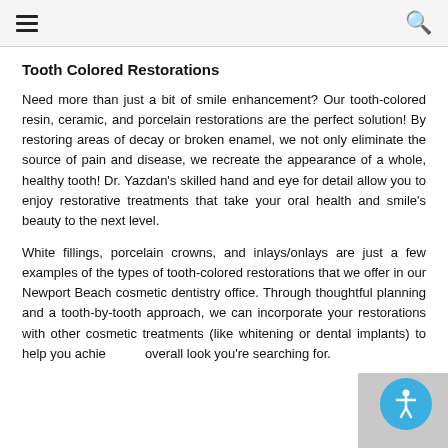≡  🔍
Tooth Colored Restorations
Need more than just a bit of smile enhancement? Our tooth-colored resin, ceramic, and porcelain restorations are the perfect solution! By restoring areas of decay or broken enamel, we not only eliminate the source of pain and disease, we recreate the appearance of a whole, healthy tooth! Dr. Yazdan's skilled hand and eye for detail allow you to enjoy restorative treatments that take your oral health and smile's beauty to the next level.
White fillings, porcelain crowns, and inlays/onlays are just a few examples of the types of tooth-colored restorations that we offer in our Newport Beach cosmetic dentistry office. Through thoughtful planning and a tooth-by-tooth approach, we can incorporate your restorations with other cosmetic treatments (like whitening or dental implants) to help you achieve the overall look you're searching for.